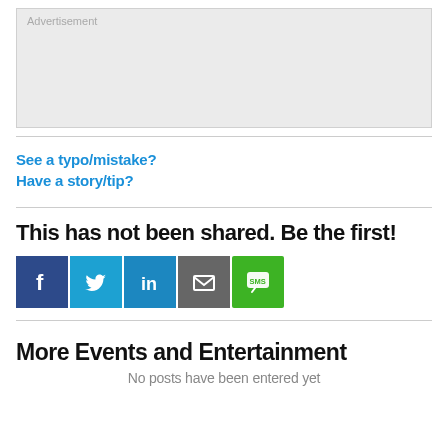[Figure (other): Advertisement placeholder box with light grey background]
See a typo/mistake?
Have a story/tip?
This has not been shared. Be the first!
[Figure (other): Social share buttons: Facebook, Twitter, LinkedIn, Email, SMS]
More Events and Entertainment